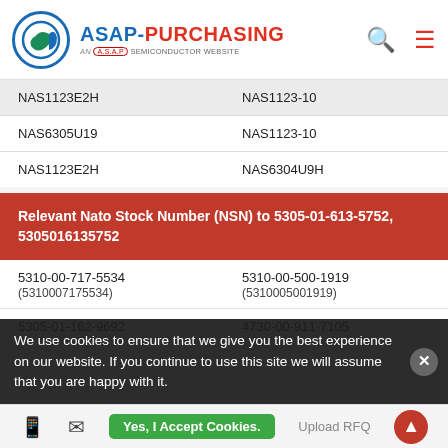ASAP-PURCHASING AN A.S.A.P SEMICONDUCTOR WEBSITE
| NAS1123E2H | NAS1123-10 |
| NAS6305U19 | NAS1123-10 |
| NAS1123E2H | NAS6304U9H |
Relevant Nato Stock Number (NSN) to 5305-01-613-5752, 5305016135752
| 5310-00-717-5534
(5310007175534) | 5310-00-500-1919
(5310005001919) |
| 5305-01-162-9692
(5305011629692) | 4730-00-911-7105
(4730009117105) |
| 5306-01-501-5754
(5306015015754) | 5306-01-395-3931
(5306013953931) |
We use cookies to ensure that we give you the best experience on our website. If you continue to use this site we will assume that you are happy with it.
Yes, I Accept Cookies.    Upload RFQ